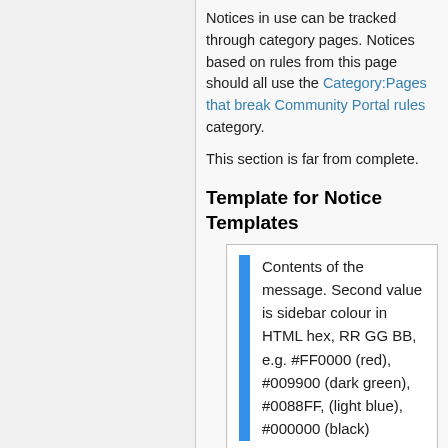Notices in use can be tracked through category pages. Notices based on rules from this page should all use the Category:Pages that break Community Portal rules category.
This section is far from complete.
Template for Notice Templates
Contents of the message. Second value is sidebar colour in HTML hex, RR GG BB, e.g. #FF0000 (red), #009900 (dark green), #0088FF, (light blue), #000000 (black)
{{Colored Notice